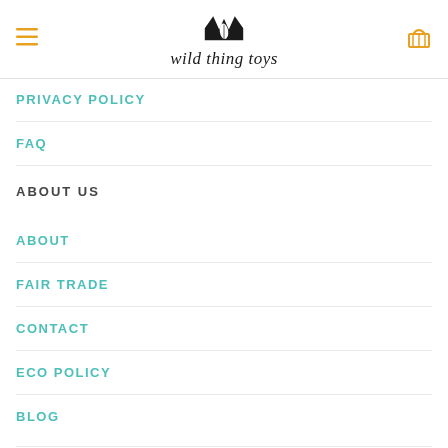wild thing toys
PRIVACY POLICY
FAQ
ABOUT US
ABOUT
FAIR TRADE
CONTACT
ECO POLICY
BLOG
KEEP IN TOUCH